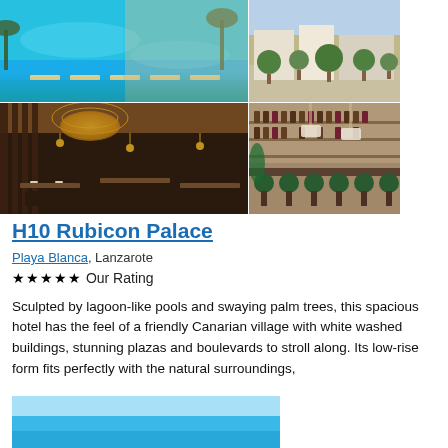[Figure (photo): Four hotel photos in a 2x2 grid: top-left shows an aerial view of a turquoise lagoon-like pool with palm trees and sun loungers; top-right shows a hotel plaza/street with green topiary trees; bottom-left shows an elegant restaurant interior with warm lighting and a circular golden ceiling feature; bottom-right shows a bar interior with green velvet stools and shelves of bottles.]
H10 Rubicon Palace
Playa Blanca, Lanzarote
★★★★★ Our Rating
Sculpted by lagoon-like pools and swaying palm trees, this spacious hotel has the feel of a friendly Canarian village with white washed buildings, stunning plazas and boulevards to stroll along. Its low-rise form fits perfectly with the natural surroundings,
[Figure (photo): Bottom partial photo showing bright blue sky/pool area.]